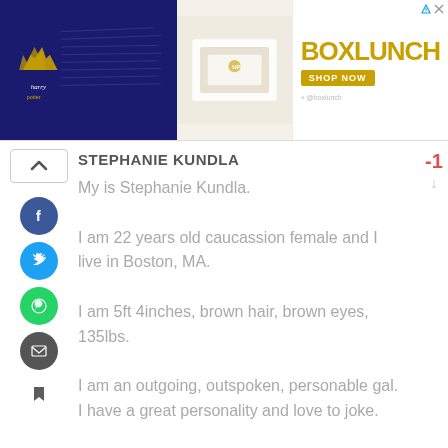[Figure (photo): Advertisement banner for BoxLunch featuring Harry Potter merchandise — left third shows Harry Potter branded items on dark blue background, middle shows folded clothing/accessories on light background, right shows green Slytherin themed shirts. BoxLunch logo and SHOP NOW button on right side.]
STEPHANIE KUNDLA
My is Stephanie Kundla.
I am 22 years old caucassion female and I live in Boston, MA.
I am 5ft 4inches, brown hair, brown eyes, 135lbs.
I am an outgoing, outspoken, personable gal. I have a great personality and love to joke.
After watching Ted, i believe Ted 2 would fit my personslity perfect.
I work well with all types of people and people love to be around me. I use others critizism to help botter